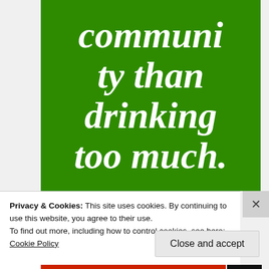[Figure (other): Green banner with large bold italic white text reading 'community than drinking too much.' (partial, top of text cut off)]
Privacy & Cookies: This site uses cookies. By continuing to use this website, you agree to their use.
To find out more, including how to control cookies, see here:
Cookie Policy
Close and accept